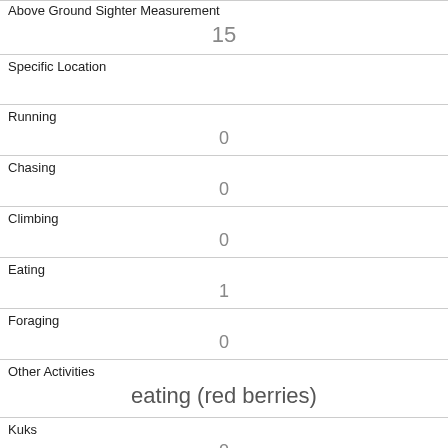| Above Ground Sighter Measurement | 15 |
| Specific Location |  |
| Running | 0 |
| Chasing | 0 |
| Climbing | 0 |
| Eating | 1 |
| Foraging | 0 |
| Other Activities | eating (red berries) |
| Kuks | 0 |
| Quaas | 0 |
| Moans |  |